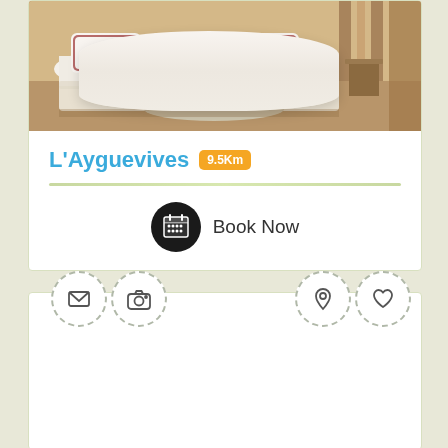[Figure (photo): Hotel room photo showing a bed with white bedding and red accent pillows]
L'Ayguevives 9.5Km
Book Now
[Figure (infographic): Action bar with email, camera, map pin, and heart/favorite icons in dashed circles]